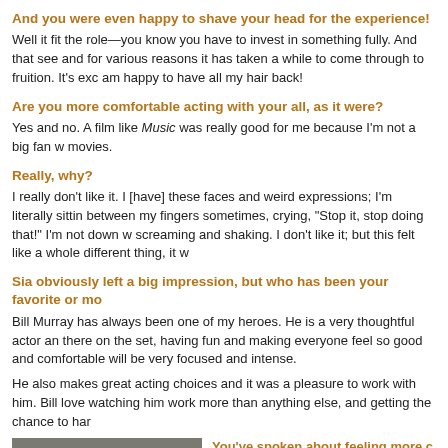And you were even happy to shave your head for the experience!
Well it fit the role—you know you have to invest in something fully. And that see and for various reasons it has taken a while to come through to fruition. It's exc am happy to have all my hair back!
Are you more comfortable acting with your all, as it were?
Yes and no. A film like Music was really good for me because I'm not a big fan w movies.
Really, why?
I really don't like it. I [have] these faces and weird expressions; I'm literally sittin between my fingers sometimes, crying, "Stop it, stop doing that!" I'm not down w screaming and shaking. I don't like it; but this felt like a whole different thing, it w
Sia obviously left a big impression, but who has been your favorite or mo
Bill Murray has always been one of my heroes. He is a very thoughtful actor an there on the set, having fun and making everyone feel so good and comfortable will be very focused and intense.
He also makes great acting choices and it was a pleasure to work with him. Bill love watching him work more than anything else, and getting the chance to har
[Figure (photo): Photo of a woman with blonde wavy hair]
You've spoken about feeling more c you ever did in your 20s or 30s. Wh
I have a much greater sense of inner everything that life throws at you and expectations on everything. That was s